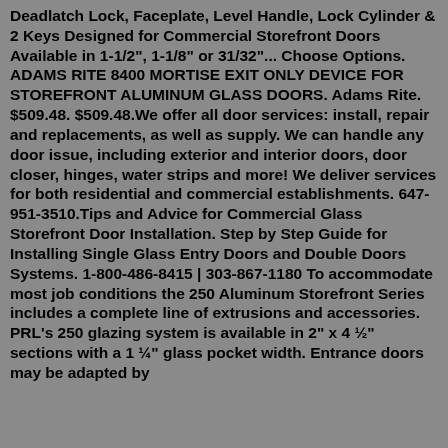Deadlatch Lock, Faceplate, Level Handle, Lock Cylinder & 2 Keys Designed for Commercial Storefront Doors Available in 1-1/2", 1-1/8" or 31/32"... Choose Options. ADAMS RITE 8400 MORTISE EXIT ONLY DEVICE FOR STOREFRONT ALUMINUM GLASS DOORS. Adams Rite. $509.48. $509.48.We offer all door services: install, repair and replacements, as well as supply. We can handle any door issue, including exterior and interior doors, door closer, hinges, water strips and more! We deliver services for both residential and commercial establishments. 647-951-3510.Tips and Advice for Commercial Glass Storefront Door Installation. Step by Step Guide for Installing Single Glass Entry Doors and Double Doors Systems. 1-800-486-8415 | 303-867-1180 To accommodate most job conditions the 250 Aluminum Storefront Series includes a complete line of extrusions and accessories. PRL's 250 glazing system is available in 2" x 4 ½" sections with a 1 ¼" glass pocket width. Entrance doors may be adapted by